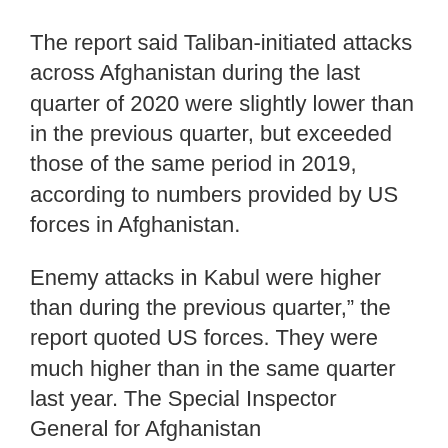The report said Taliban-initiated attacks across Afghanistan during the last quarter of 2020 were slightly lower than in the previous quarter, but exceeded those of the same period in 2019, according to numbers provided by US forces in Afghanistan.
Enemy attacks in Kabul were higher than during the previous quarter,” the report quoted US forces. They were much higher than in the same quarter last year. The Special Inspector General for Afghanistan Reconstruction, known as SIGAR, monitors the billions of dollars the US spends in war-ravaged Afghanistan.
The Taliban unleashed a wave of attacks in Afghanistan in December, including strikes in northern Baghlan and southern Uruzgan provinces over a two-day period that killed at least 19 members of the Afghan security forces. In Kabul, a roadside bomb struck a vehicle, wounding two,